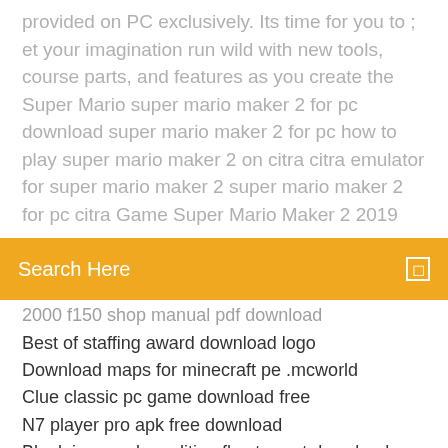provided on PC exclusively. Its time for you to ; et your imagination run wild with new tools, course parts, and features as you create the Super Mario super mario maker 2 for pc download super mario maker 2 for pc how to play super mario maker 2 on citra citra emulator for super mario maker 2 super mario maker 2 for pc citra Game Super Mario Maker 2 2019
Search Here
2000 f150 shop manual pdf download
Best of staffing award download logo
Download maps for minecraft pe .mcworld
Clue classic pc game download free
N7 player pro apk free download
Blank jones relax edition flac torrent download
Minecraft bedrock edition windows 10 download free
All cast premium apk download
Hp wireless adapter driver download windows 7
Uno for pc free download
Download torrents on nvidia shield